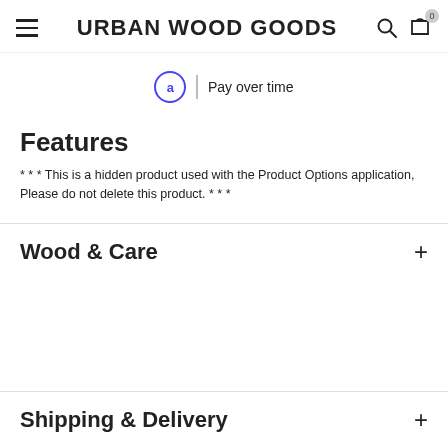URBAN WOOD GOODS
[Figure (logo): Affirm pay over time logo with circle 'a' icon and vertical divider]
Features
* * * This is a hidden product used with the Product Options application, Please do not delete this product. * * *
Wood & Care
Shipping & Delivery